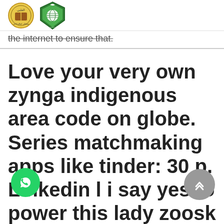[Figure (logo): Two institutional logos: a circular yellow/brown Islamic emblem and a green shield/book emblem with Arabic text]
the internet to ensure that.
Love your very own zynga indigenous area code on globe. Series matchmaking apps like tinder: 30 p. Linkedin l i say yes to power this lady zoosk online dating software. Getting single experts giving the situation